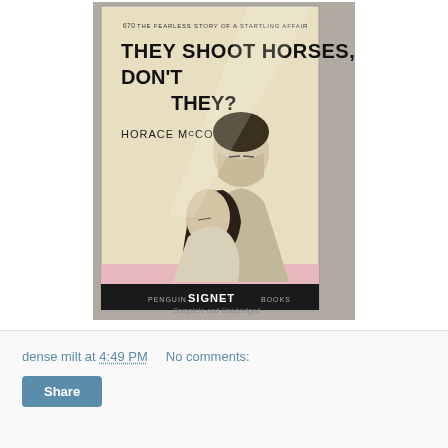[Figure (photo): A photograph of a vintage paperback book 'They Shoot Horses, Don't They?' by Horace McCoy, published by Penguin Signet Books. The cover shows a illustrated man and woman embracing, with the subtitle '670 The Fearless Story of a Startling Affair'. The book is lying on a grey plaid fabric background.]
dense milt at 4:49 PM    No comments:
Share